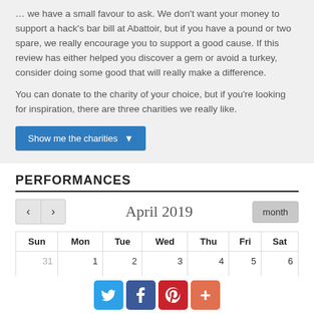… we have a small favour to ask. We don't want your money to support a hack's bar bill at Abattoir, but if you have a pound or two spare, we really encourage you to support a good cause. If this review has either helped you discover a gem or avoid a turkey, consider doing some good that will really make a difference.
You can donate to the charity of your choice, but if you're looking for inspiration, there are three charities we really like.
Show me the charities ▾
PERFORMANCES
| Sun | Mon | Tue | Wed | Thu | Fri | Sat |
| --- | --- | --- | --- | --- | --- | --- |
| 31 | 1 | 2 | 3 | 4 | 5 | 6 |
[Figure (other): Social sharing icons: Twitter (blue), Facebook (dark blue), Pinterest (red), Plus (orange-red)]